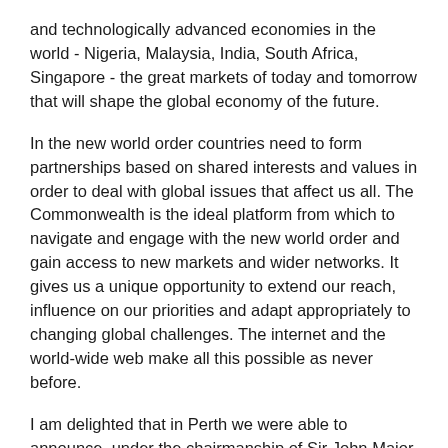and technologically advanced economies in the world - Nigeria, Malaysia, India, South Africa, Singapore - the great markets of today and tomorrow that will shape the global economy of the future.
In the new world order countries need to form partnerships based on shared interests and values in order to deal with global issues that affect us all. The Commonwealth is the ideal platform from which to navigate and engage with the new world order and gain access to new markets and wider networks. It gives us a unique opportunity to extend our reach, influence on our priorities and adapt appropriately to changing global challenges. The internet and the world-wide web make all this possible as never before.
I am delighted that in Perth we were able to announce, under the chairmanship of Sir John Major, the establishment of the Queen Elizabeth Diamond Jubilee Trust. This will be a fitting tribute to Her Majesty the Queen's extraordinary service as Head of the Commonwealth over the last sixty years. And it will be a gift to the people of the Commonwealth, supporting charitable projects and organisations, focussing on areas such as tackling curable diseases, promotion of education